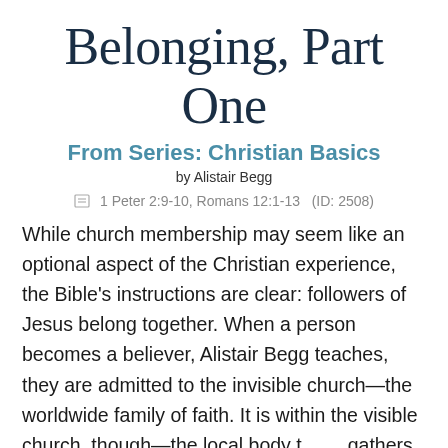Belonging, Part One
From Series: Christian Basics
by Alistair Begg
1 Peter 2:9-10, Romans 12:1-13   (ID: 2508)
While church membership may seem like an optional aspect of the Christian experience, the Bible's instructions are clear: followers of Jesus belong together. When a person becomes a believer, Alistair Begg teaches, they are admitted to the invisible church—the worldwide family of faith. It is within the visible church, though—the local body that gathers together—that God has made special